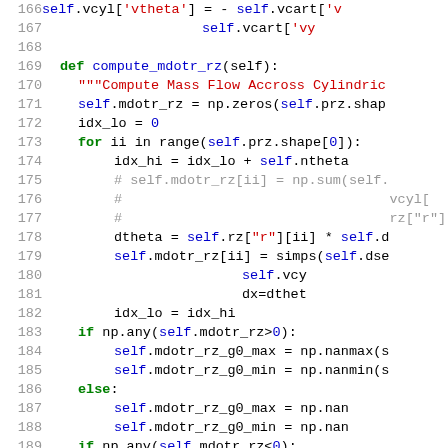[Figure (screenshot): Python source code snippet showing lines 166-195, a method compute_mdotr_rz with cylindrical mass flow computation, including for loop, Simpson integration call, and conditional nan/nanmax/nanmin assignments.]